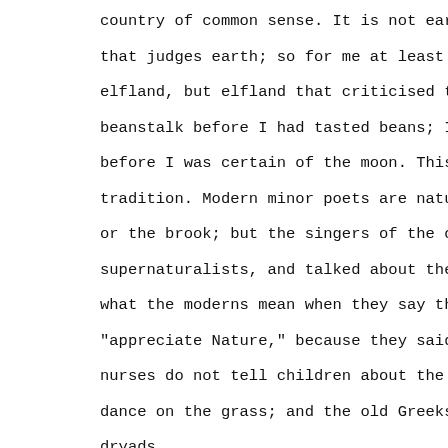country of common sense. It is not earth that judges that judges earth; so for me at least it was not ear elfland, but elfland that criticised the earth. I kr beanstalk before I had tasted beans; I was sure of t before I was certain of the moon. This was at one wi tradition. Modern minor poets are naturalists, and t or the brook; but the singers of the old epics and f supernaturalists, and talked about the gods of brook what the moderns mean when they say that the ancient "appreciate Nature," because they said that Nature w nurses do not tell children about the grass, but abo dance on the grass; and the old Greeks could not see dryads.